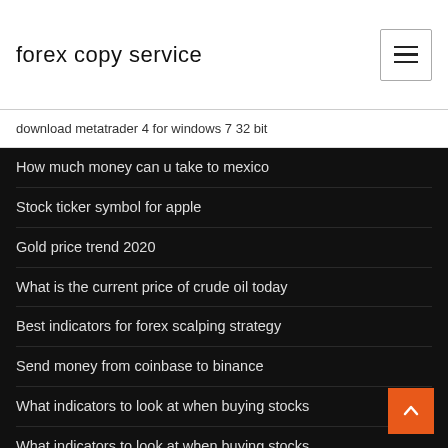forex copy service
download metatrader 4 for windows 7 32 bit
How much money can u take to mexico
Stock ticker symbol for apple
Gold price trend 2020
What is the current price of crude oil today
Best indicators for forex scalping strategy
Send money from coinbase to binance
What indicators to look at when buying stocks
What indicators to look at when buying stocks
The spot price of oil is 80 per barrel
Life coin app